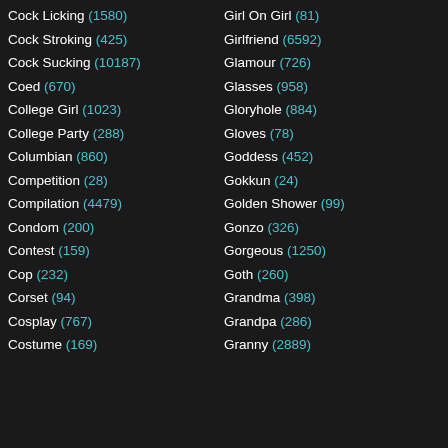Cock Licking (1580)
Cock Stroking (425)
Cock Sucking (10187)
Coed (670)
College Girl (1023)
College Party (288)
Columbian (860)
Competition (28)
Compilation (4479)
Condom (200)
Contest (159)
Cop (232)
Corset (94)
Cosplay (767)
Costume (169)
Girl On Girl (81)
Girlfriend (6592)
Glamour (726)
Glasses (958)
Gloryhole (884)
Gloves (78)
Goddess (452)
Gokkun (24)
Golden Shower (99)
Gonzo (326)
Gorgeous (1250)
Goth (260)
Grandma (398)
Grandpa (286)
Granny (2889)